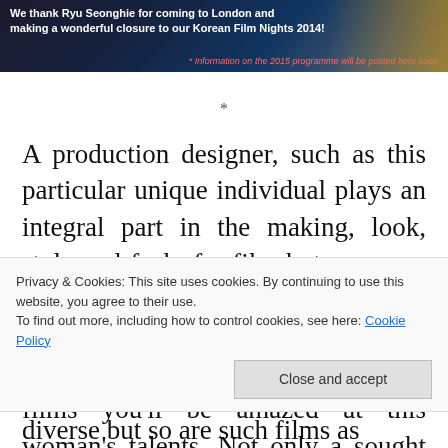[Figure (photo): Banner image with dark blue/grey background showing a person and text: 'We thank Ryu Seonghie for coming to London and making a wonderful closure to our Korean Film Nights 2014!' with subtitle '* Information on the 2015 programme will be posted here soon']
*
A production designer, such as this particular unique individual plays an integral part in the making, look, style and feel of a film but you may never realise the amount of films that certain artist can work on. If you take a glance at the below list of films you'll be amazed at this woman's talents. Not only a sought after lady in the Korean film industry and therefore chosen those big directors out there, but art and design has always
Privacy & Cookies: This site uses cookies. By continuing to use this website, you agree to their use.
To find out more, including how to control cookies, see here: Cookie Policy
diverse but so are such films as Oldboy, Mother, The